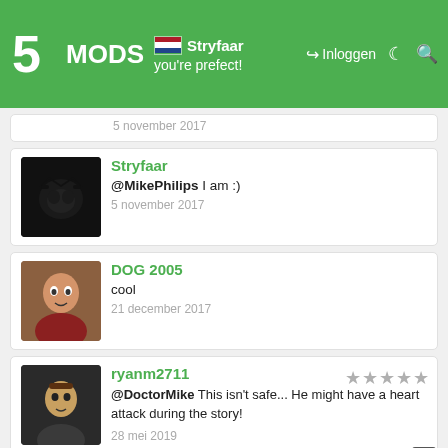5MODS | DoctorMike Ontwikkelaar | Stryfaar you're prefect! | Inloggen
5 november 2017
Stryfaar
@MikePhilips I am :)
5 november 2017
DOG 2005
cool
21 december 2017
ryanm2711
@DoctorMike This isn't safe... He might have a heart attack during the story!
28 mei 2019
DoctorMike Ontwikkelaar
@ryanm2711 I know right :P